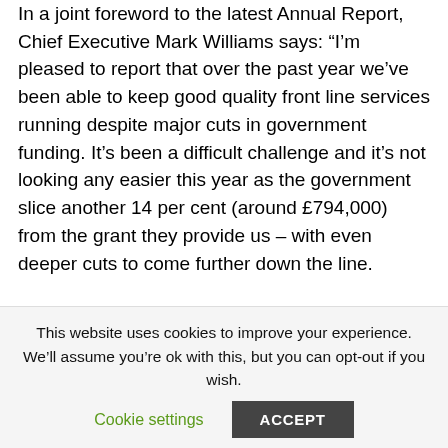In a joint foreword to the latest Annual Report, Chief Executive Mark Williams says: “I’m pleased to report that over the past year we’ve been able to keep good quality front line services running despite major cuts in government funding. It’s been a difficult challenge and it’s not looking any easier this year as the government slice another 14 per cent (around £794,000) from the grant they provide us – with even deeper cuts to come further down the line.
“In future years we’ll have to redouble our efforts and be even more imaginative to
This website uses cookies to improve your experience. We’ll assume you’re ok with this, but you can opt-out if you wish.